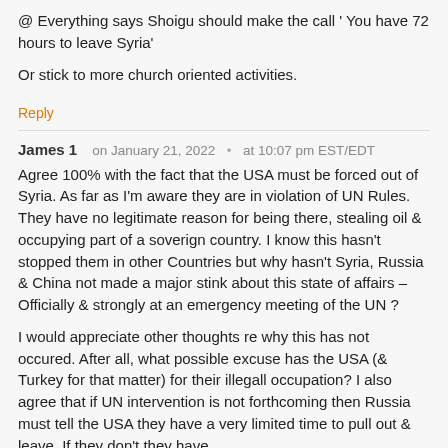@ Everything says Shoigu should make the call ' You have 72 hours to leave Syria'

Or stick to more church oriented activities.
Reply
James 1   on January 21, 2022  •  at 10:07 pm EST/EDT
Agree 100% with the fact that the USA must be forced out of Syria. As far as I'm aware they are in violation of UN Rules. They have no legitimate reason for being there, stealing oil & occupying part of a soverign country. I know this hasn't stopped them in other Countries but why hasn't Syria, Russia & China not made a major stink about this state of affairs – Officially & strongly at an emergency meeting of the UN ?
I would appreciate other thoughts re why this has not occured. After all, what possible excuse has the USA (& Turkey for that matter) for their illegall occupation? I also agree that if UN intervention is not forthcoming then Russia must tell the USA they have a very limited time to pull out & leave. If they don't they have...